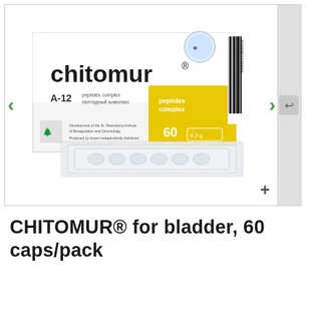[Figure (photo): Product photo of Chitomur A-12 peptides complex box (white and yellow packaging, 60 capsules) with individual blister packs in front, navigation arrows on left and right, plus button at bottom right, and undo button on side panel]
CHITOMUR® for bladder, 60 caps/pack